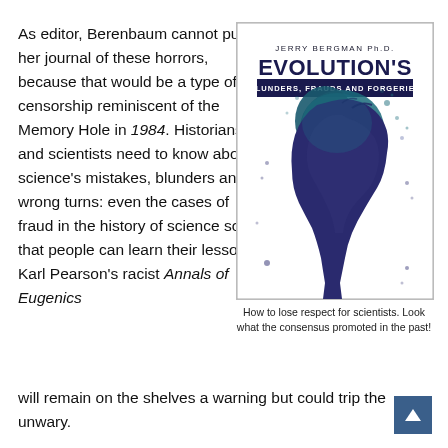As editor, Berenbaum cannot purge her journal of these horrors, because that would be a type of censorship reminiscent of the Memory Hole in 1984. Historians and scientists need to know about science's mistakes, blunders and wrong turns: even the cases of fraud in the history of science so that people can learn their lessons. Karl Pearson's racist Annals of Eugenics will remain on the shelves a warning but could trip the unwary.
[Figure (illustration): Book cover of 'Evolution's Blunders, Frauds and Forgeries' by Jerry Bergman Ph.D., featuring a dark blue/purple silhouette of a human head against a white background with ink splatter effects.]
How to lose respect for scientists. Look what the consensus promoted in the past!